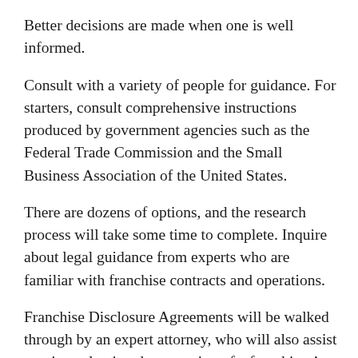Better decisions are made when one is well informed.
Consult with a variety of people for guidance. For starters, consult comprehensive instructions produced by government agencies such as the Federal Trade Commission and the Small Business Association of the United States.
There are dozens of options, and the research process will take some time to complete. Inquire about legal guidance from experts who are familiar with franchise contracts and operations.
Franchise Disclosure Agreements will be walked through by an expert attorney, who will also assist you in evaluating the operation of a franchisor’s business. In the same way, a knowledgeable franchise accountant will take you through the process of